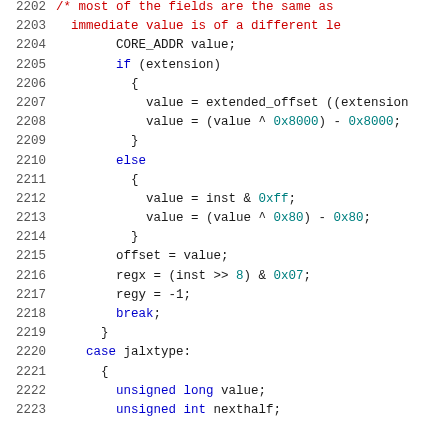[Figure (screenshot): Source code listing showing C/C++ code for instruction decoding, lines 2202-2223, with syntax highlighting. Variables and keywords in blue, hex literals in teal/green, comments in red, default code in dark.]